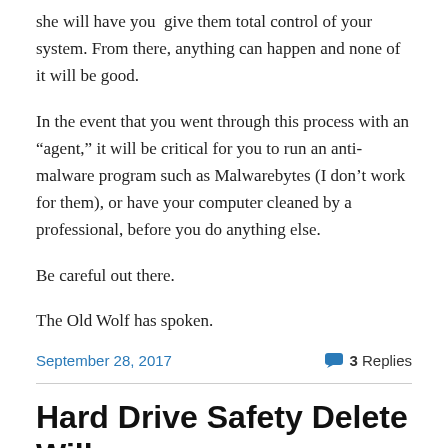she will have you give them total control of your system. From there, anything can happen and none of it will be good.
In the event that you went through this process with an “agent,” it will be critical for you to run an anti-malware program such as Malwarebytes (I don’t work for them), or have your computer cleaned by a professional, before you do anything else.
Be careful out there.
The Old Wolf has spoken.
September 28, 2017    3 Replies
Hard Drive Safety Delete Will